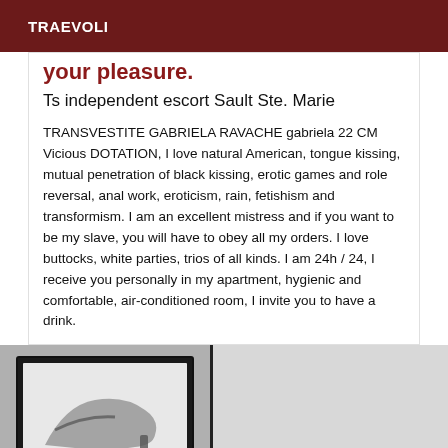TRAEVOLI
your pleasure.
Ts independent escort Sault Ste. Marie
TRANSVESTITE GABRIELA RAVACHE gabriela 22 CM Vicious DOTATION, I love natural American, tongue kissing, mutual penetration of black kissing, erotic games and role reversal, anal work, eroticism, rain, fetishism and transformism. I am an excellent mistress and if you want to be my slave, you will have to obey all my orders. I love buttocks, white parties, trios of all kinds. I am 24h / 24, I receive you personally in my apartment, hygienic and comfortable, air-conditioned room, I invite you to have a drink.
[Figure (photo): Two photos side by side: left shows a high-heeled shoe/leg detail in black and white framed print; right side is a blurred light grey background.]